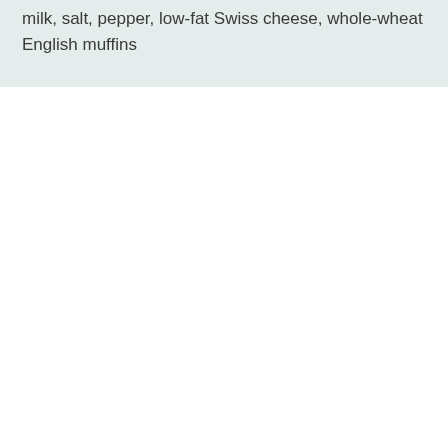milk, salt, pepper, low-fat Swiss cheese, whole-wheat English muffins